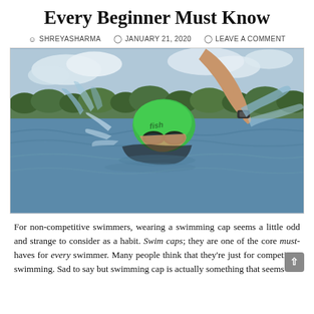Every Beginner Must Know
SHREYASHARMA   JANUARY 21, 2020   LEAVE A COMMENT
[Figure (photo): A swimmer doing freestyle stroke in open water, wearing a green swim cap with 'fish' text and dark goggles, arm raised out of the water with splashing, trees and cloudy sky in the background.]
For non-competitive swimmers, wearing a swimming cap seems a little odd and strange to consider as a habit. Swim caps; they are one of the core must-haves for every swimmer. Many people think that they're just for competitive swimming. Sad to say but swimming cap is actually something that seems